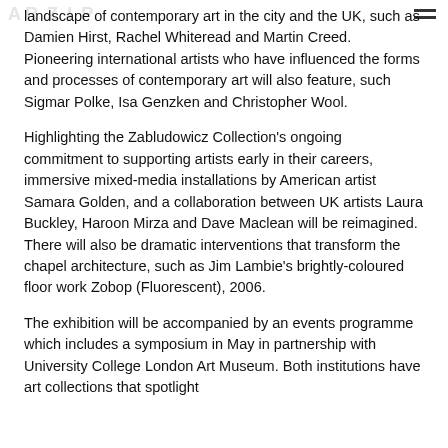ARZIP [logo] ≡ [menu]
landscape of contemporary art in the city and the UK, such as Damien Hirst, Rachel Whiteread and Martin Creed. Pioneering international artists who have influenced the forms and processes of contemporary art will also feature, such Sigmar Polke, Isa Genzken and Christopher Wool.
Highlighting the Zabludowicz Collection's ongoing commitment to supporting artists early in their careers, immersive mixed-media installations by American artist Samara Golden, and a collaboration between UK artists Laura Buckley, Haroon Mirza and Dave Maclean will be reimagined. There will also be dramatic interventions that transform the chapel architecture, such as Jim Lambie's brightly-coloured floor work Zobop (Fluorescent), 2006.
The exhibition will be accompanied by an events programme which includes a symposium in May in partnership with University College London Art Museum. Both institutions have art collections that spotlight